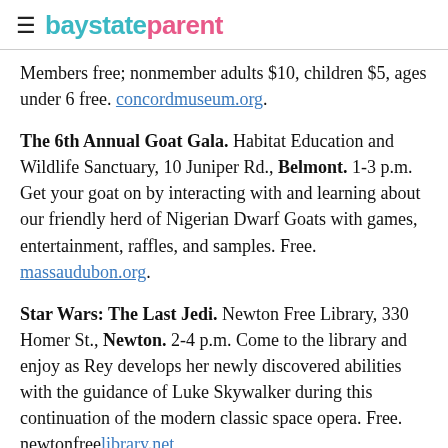baystateparent
Members free; nonmember adults $10, children $5, ages under 6 free. concordmuseum.org.
The 6th Annual Goat Gala. Habitat Education and Wildlife Sanctuary, 10 Juniper Rd., Belmont. 1-3 p.m. Get your goat on by interacting with and learning about our friendly herd of Nigerian Dwarf Goats with games, entertainment, raffles, and samples. Free. massaudubon.org.
Star Wars: The Last Jedi. Newton Free Library, 330 Homer St., Newton. 2-4 p.m. Come to the library and enjoy as Rey develops her newly discovered abilities with the guidance of Luke Skywalker during this continuation of the modern classic space opera. Free. newtonfreelibrary.net